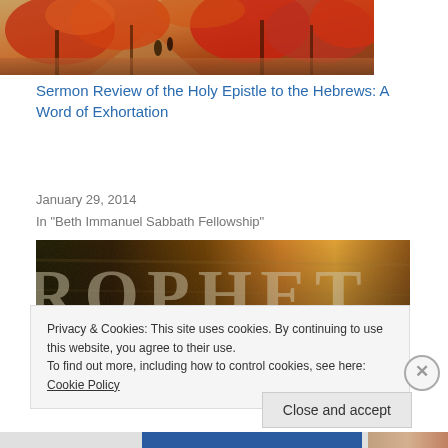[Figure (photo): Painting of figures walking on a path with red autumn trees]
Sermon Review of the Holy Epistle to the Hebrews: A Word of Exhortation
January 29, 2014
In "Beth Immanuel Sabbath Fellowship"
[Figure (photo): Book cover partially visible showing the word PROPHET with a dark figure silhouette in front of a textured golden-brown background]
Privacy & Cookies: This site uses cookies. By continuing to use this website, you agree to their use.
To find out more, including how to control cookies, see here: Cookie Policy